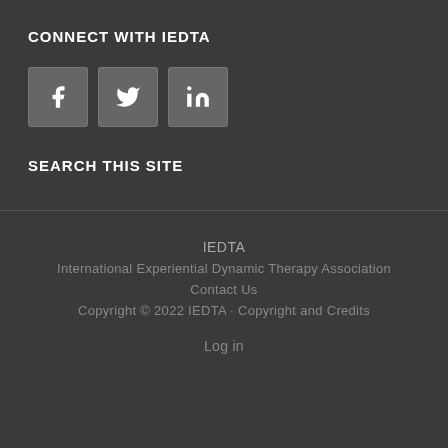CONNECT WITH IEDTA
[Figure (other): Three social media icons: Facebook (f), Twitter (bird), LinkedIn (in)]
SEARCH THIS SITE
IEDTA
International Experiential Dynamic Therapy Association
Contact Us
Copyright © 2022 IEDTA · Copyright and Credits
Log in